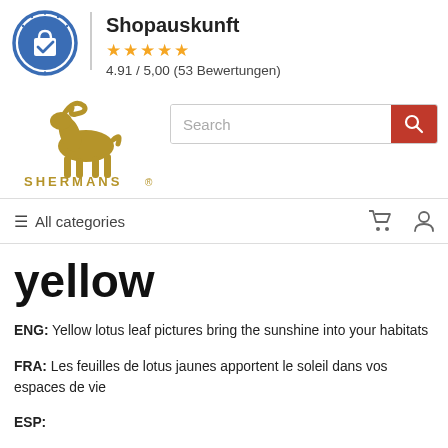[Figure (logo): Shopauskunft circular badge logo with blue border and white shopping bag icon inside blue circle]
Shopauskunft
★★★★★
4.91 / 5,00 (53 Bewertungen)
[Figure (logo): Shermans brand logo with golden ibex/ram figure above text SHERMANS]
Search
≡ All categories
yellow
ENG: Yellow lotus leaf pictures bring the sunshine into your habitats
FRA: Les feuilles de lotus jaunes apportent le soleil dans vos espaces de vie
ESP: ...